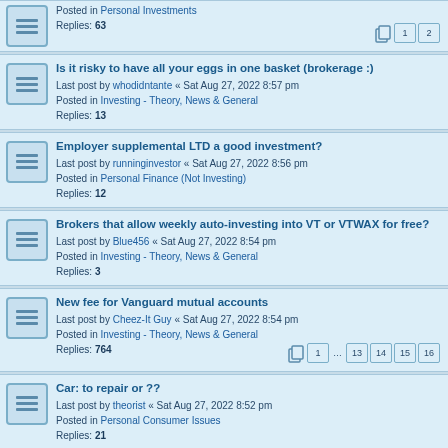Posted in Personal Investments
Replies: 63
Is it risky to have all your eggs in one basket (brokerage :)
Last post by whodidntante « Sat Aug 27, 2022 8:57 pm
Posted in Investing - Theory, News & General
Replies: 13
Employer supplemental LTD a good investment?
Last post by runninginvestor « Sat Aug 27, 2022 8:56 pm
Posted in Personal Finance (Not Investing)
Replies: 12
Brokers that allow weekly auto-investing into VT or VTWAX for free?
Last post by Blue456 « Sat Aug 27, 2022 8:54 pm
Posted in Investing - Theory, News & General
Replies: 3
New fee for Vanguard mutual accounts
Last post by Cheez-It Guy « Sat Aug 27, 2022 8:54 pm
Posted in Investing - Theory, News & General
Replies: 764
Car: to repair or ??
Last post by theorist « Sat Aug 27, 2022 8:52 pm
Posted in Personal Consumer Issues
Replies: 21
Remove "Track your transfer ->" Button from Vanguard online account?
Last post by otinkyad « Sat Aug 27, 2022 8:51 pm
Posted in Personal Investments
Replies: 1